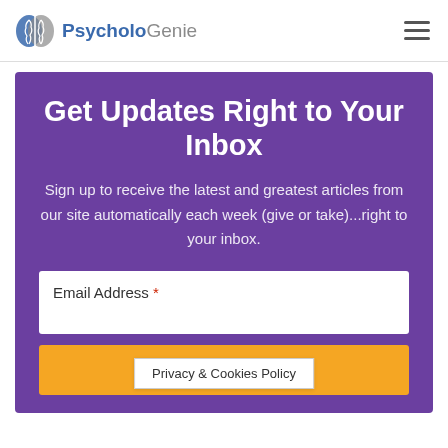PsycholoGenie
Get Updates Right to Your Inbox
Sign up to receive the latest and greatest articles from our site automatically each week (give or take)...right to your inbox.
Email Address *
Get Updates →
Privacy & Cookies Policy